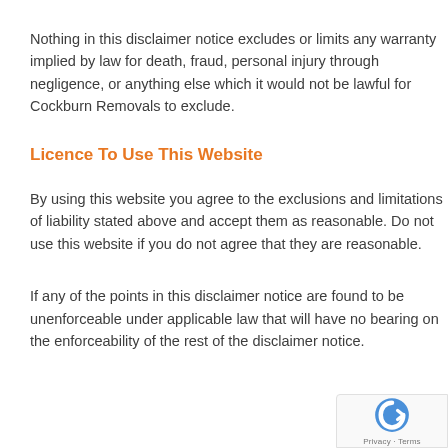Nothing in this disclaimer notice excludes or limits any warranty implied by law for death, fraud, personal injury through negligence, or anything else which it would not be lawful for Cockburn Removals to exclude.
Licence To Use This Website
By using this website you agree to the exclusions and limitations of liability stated above and accept them as reasonable. Do not use this website if you do not agree that they are reasonable.
If any of the points in this disclaimer notice are found to be unenforceable under applicable law that will have no bearing on the enforceability of the rest of the disclaimer notice.
[Figure (logo): reCAPTCHA badge with Google logo and Privacy · Terms text]